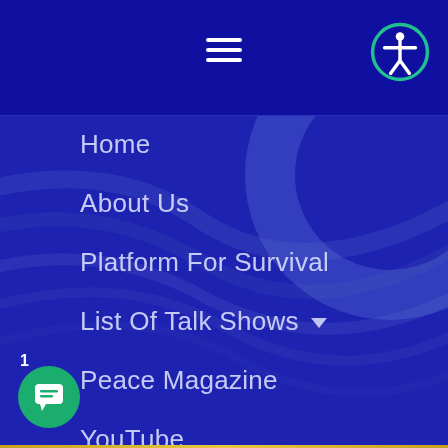[Figure (screenshot): Navigation menu of a website with dark blue background, hamburger menu icon centered at top, accessibility icon at top right, and a vertical list of navigation links.]
Home
About Us
Platform For Survival
List Of Talk Shows ▾
Peace Magazine
YouTube
Events ▾
Global Town Hall